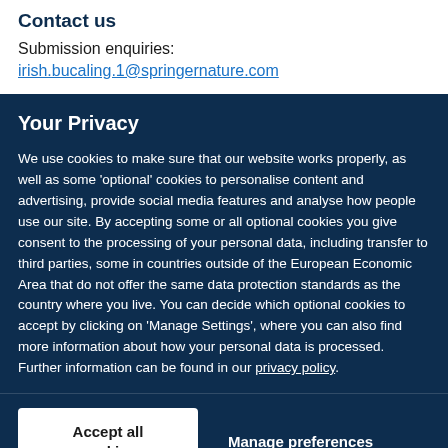Contact us
Submission enquiries:
irish.bucaling.1@springernature.com
Your Privacy
We use cookies to make sure that our website works properly, as well as some ‘optional’ cookies to personalise content and advertising, provide social media features and analyse how people use our site. By accepting some or all optional cookies you give consent to the processing of your personal data, including transfer to third parties, some in countries outside of the European Economic Area that do not offer the same data protection standards as the country where you live. You can decide which optional cookies to accept by clicking on ‘Manage Settings’, where you can also find more information about how your personal data is processed. Further information can be found in our privacy policy.
Accept all cookies
Manage preferences